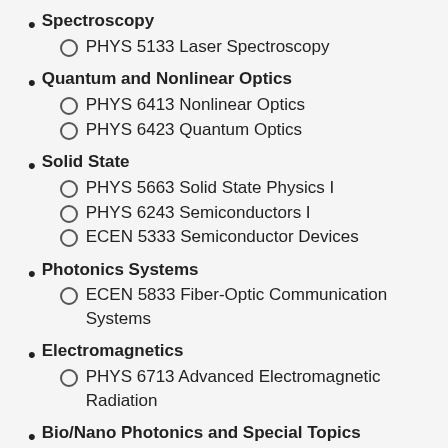Spectroscopy
PHYS 5133 Laser Spectroscopy
Quantum and Nonlinear Optics
PHYS 6413 Nonlinear Optics
PHYS 6423 Quantum Optics
Solid State
PHYS 5663 Solid State Physics I
PHYS 6243 Semiconductors I
ECEN 5333 Semiconductor Devices
Photonics Systems
ECEN 5833 Fiber-Optic Communication Systems
Electromagnetics
PHYS 6713 Advanced Electromagnetic Radiation
Bio/Nano Photonics and Special Topics
For students pursuing the bio/nano